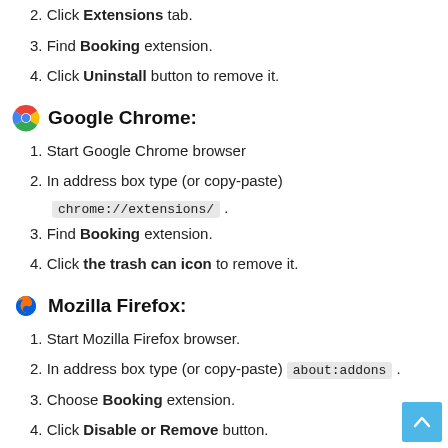2. Click Extensions tab.
3. Find Booking extension.
4. Click Uninstall button to remove it.
Google Chrome:
1. Start Google Chrome browser
2. In address box type (or copy-paste) chrome://extensions/ .
3. Find Booking extension.
4. Click the trash can icon to remove it.
Mozilla Firefox:
1. Start Mozilla Firefox browser.
2. In address box type (or copy-paste) about:addons .
3. Choose Booking extension.
4. Click Disable or Remove button.